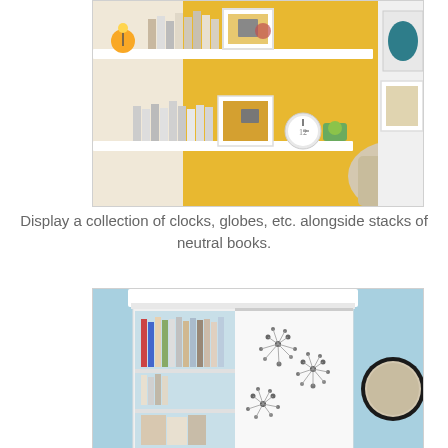[Figure (photo): Wall shelves with books, clocks, globes, and decorative objects against a yellow wall. A beige sofa arm is visible in the lower right.]
Display a collection of clocks, globes, etc. alongside stacks of neutral books.
[Figure (photo): A white bookcase with sliding panel decorated with a floral/dandelion dot pattern against a light blue wall. Books are on the shelves, and a round mirror is visible to the right.]